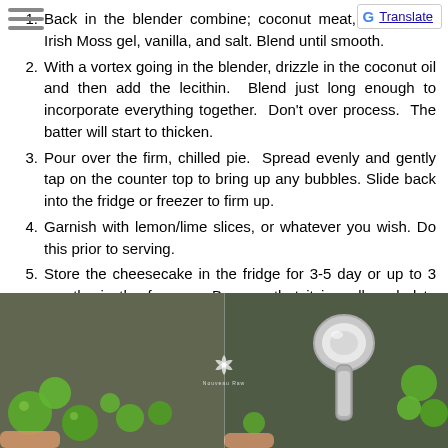1. Back in the blender combine; coconut meat, sweetener, Irish Moss gel, vanilla, and salt. Blend until smooth.
2. With a vortex going in the blender, drizzle in the coconut oil and then add the lecithin. Blend just long enough to incorporate everything together. Don't over process. The batter will start to thicken.
3. Pour over the firm, chilled pie. Spread evenly and gently tap on the counter top to bring up any bubbles. Slide back into the fridge or freezer to firm up.
4. Garnish with lemon/lime slices, or whatever you wish. Do this prior to serving.
5. Store the cheesecake in the fridge for 3-5 day or up to 3 months in the freezer. Be sure that it is well sealed to avoid fridge odors.
[Figure (photo): Two side-by-side photos showing green lime/lemon balls and a chrome kitchen tool on a dark grey surface, with a small logo watermark in the center.]